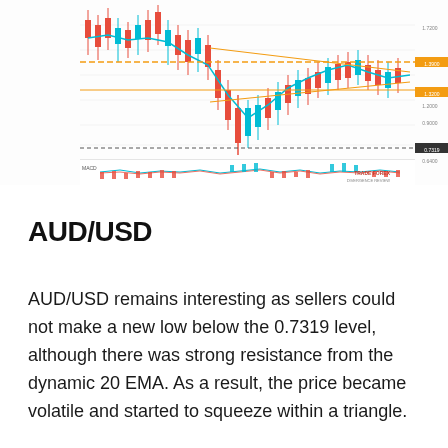[Figure (continuous-plot): AUD/USD candlestick price chart with trendlines (support/resistance), 20 EMA (teal), and a MACD/oscillator indicator panel at the bottom showing red histogram bars and teal signal lines. Price action shows a triangle squeeze pattern near 0.7319 level. Right axis shows price levels. A trading analysis logo/watermark appears in the bottom right of the chart.]
AUD/USD
AUD/USD remains interesting as sellers could not make a new low below the 0.7319 level, although there was strong resistance from the dynamic 20 EMA. As a result, the price became volatile and started to squeeze within a triangle.